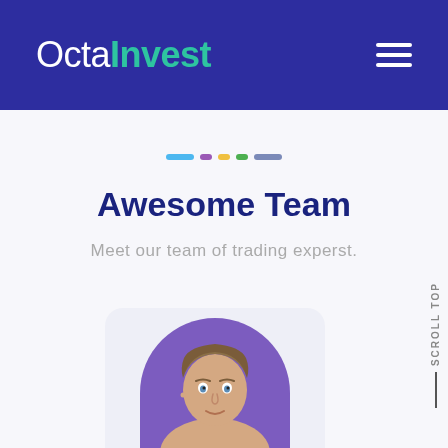OctaInvest
[Figure (illustration): Decorative colored dashes/dots row: blue dash, purple dot, yellow dot, green dot, gray dash]
Awesome Team
Meet our team of trading experst.
SCROLL TOP
[Figure (photo): Team member photo: person with light hair pulled back, looking upward, over a purple arch background, on a light gray card]